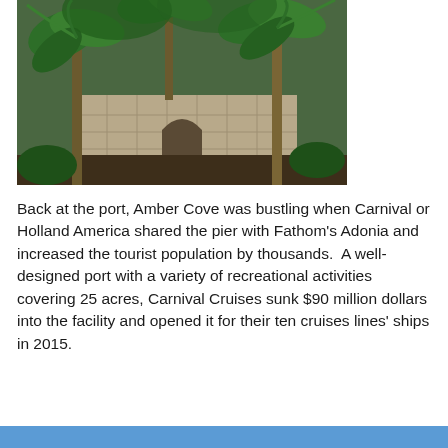[Figure (photo): Photograph of tropical palm trees and lush green vegetation in front of a concrete block wall, at a port or outdoor location.]
Back at the port, Amber Cove was bustling when Carnival or Holland America shared the pier with Fathom's Adonia and increased the tourist population by thousands.  A well-designed port with a variety of recreational activities covering 25 acres, Carnival Cruises sunk $90 million dollars into the facility and opened it for their ten cruises lines' ships in 2015.